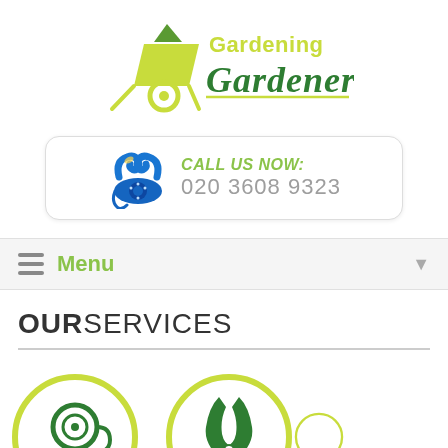[Figure (logo): Gardening Gardeners logo with a yellow-green wheelbarrow icon and green italic text]
[Figure (infographic): Call us now box with blue telephone icon, italic green text 'CALL US NOW:' and grey number '020 3608 9323']
[Figure (infographic): Navigation menu bar with hamburger icon, green 'Menu' text, and dropdown arrow]
OUR SERVICES
[Figure (illustration): Two circular icon buttons with yellow-green borders: left shows a garden hose reel icon in green, right shows pruning shears icon in green, and a third partially visible circle on the far right]